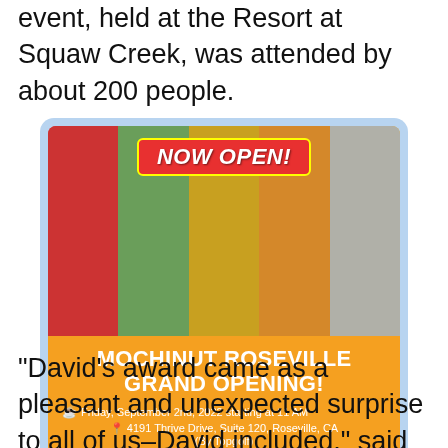North Lake Tahoe Resort Association. The event, held at the Resort at Squaw Creek, was attended by about 200 people.
[Figure (photo): Advertisement for Mochinut Roseville Grand Opening showing colorful drinks cups with donut logo. Orange banner overlay reads: MOCHINUT ROSEVILLE GRAND OPENING! Friday, September 2nd, 2022 starting at 11 AM. 4191 Thrive Drive, Suite 120, Roseville, CA (By Topgolf). Red badge at top reads: NOW OPEN!]
“David’s award came as a pleasant and unexpected surprise to all of us–David included,” said Fifth District Supervisor Jennifer Mont...